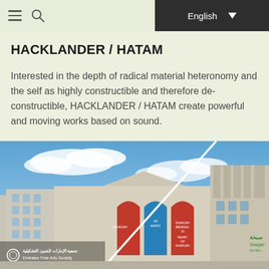English ▼
HACKLANDER / HATAM
Interested in the depth of radical material heteronomy and the self as highly constructible and therefore de-constructible, HACKLANDER / HATAM create powerful and moving works based on sound.
[Figure (photo): Exterior photo of a building with Emirates Fine Arts Society signage and Sharjah Biennial banners, taken against a blue sky with clouds.]